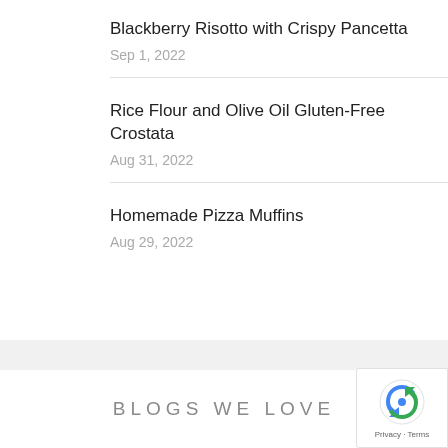Blackberry Risotto with Crispy Pancetta
Sep 1, 2022
Rice Flour and Olive Oil Gluten-Free Crostata
Aug 31, 2022
Homemade Pizza Muffins
Aug 29, 2022
BLOGS WE LOVE